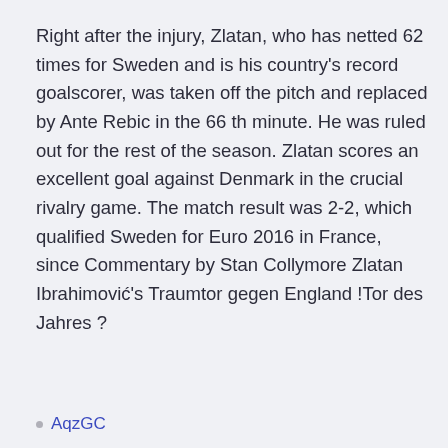Right after the injury, Zlatan, who has netted 62 times for Sweden and is his country's record goalscorer, was taken off the pitch and replaced by Ante Rebic in the 66 th minute. He was ruled out for the rest of the season. Zlatan scores an excellent goal against Denmark in the crucial rivalry game. The match result was 2-2, which qualified Sweden for Euro 2016 in France, since Commentary by Stan Collymore Zlatan Ibrahimović's Traumtor gegen England !Tor des Jahres ?
AqzGC